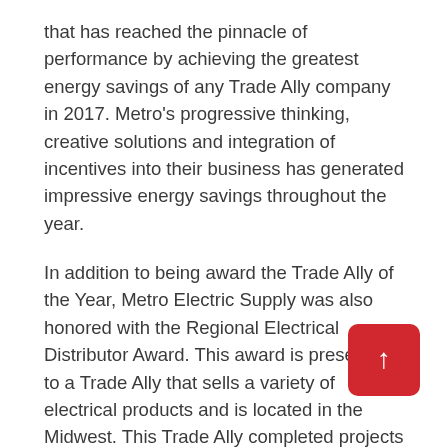that has reached the pinnacle of performance by achieving the greatest energy savings of any Trade Ally company in 2017. Metro's progressive thinking, creative solutions and integration of incentives into their business has generated impressive energy savings throughout the year.
In addition to being award the Trade Ally of the Year, Metro Electric Supply was also honored with the Regional Electrical Distributor Award. This award is presented to a Trade Ally that sells a variety of electrical products and is located in the Midwest. This Trade Ally completed projects with the greatest energy savings in their category during the 2017 program year.
The Ameren Missouri BizSavers Trade Ally Network Awards are held every spring to celebrate the performance of Trade Allies in the previous year. The 2018 awards, which were held on Thursday, April 19...